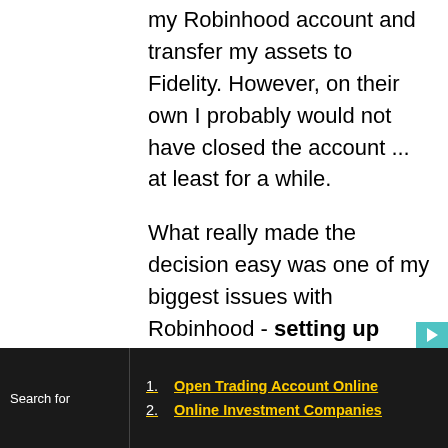my Robinhood account and transfer my assets to Fidelity.  However, on their own I probably would not have closed the account ... at least for a while.

What really made the decision easy was one of my biggest issues with Robinhood - setting up your beneficiaries.
Search for
1. Open Trading Account Online
2. Online Investment Companies